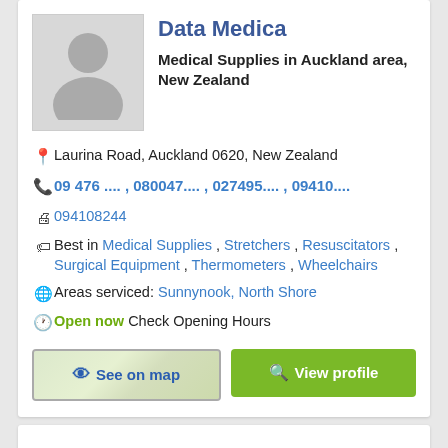Data Medica
Medical Supplies in Auckland area, New Zealand
Laurina Road, Auckland 0620, New Zealand
09 476 .... , 080047.... , 027495.... , 09410....
094108244
Best in Medical Supplies , Stretchers , Resuscitators , Surgical Equipment , Thermometers , Wheelchairs
Areas serviced: Sunnynook, North Shore
Open now Check Opening Hours